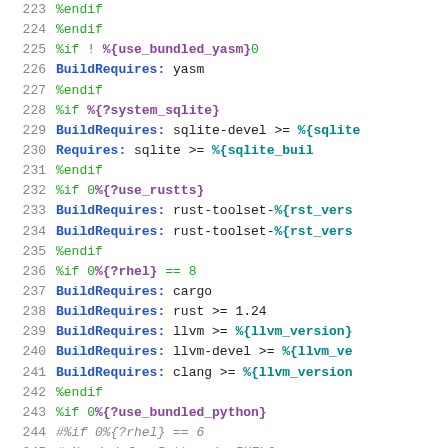[Figure (screenshot): Source code listing showing RPM spec file lines 223-247 with syntax highlighting. Green for preprocessor directives (%if, %endif), bold blue for BuildRequires/Requires labels, purple for macro variables like %{use_bundled_yasm}, black/dark for package names and operators, gray italic for commented-out lines.]